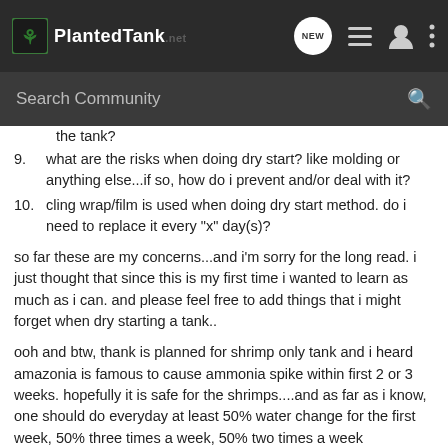PlantedTank
Search Community
the tank?
9. what are the risks when doing dry start? like molding or anything else...if so, how do i prevent and/or deal with it?
10. cling wrap/film is used when doing dry start method. do i need to replace it every "x" day(s)?
so far these are my concerns...and i'm sorry for the long read. i just thought that since this is my first time i wanted to learn as much as i can. and please feel free to add things that i might forget when dry starting a tank..
ooh and btw, thank is planned for shrimp only tank and i heard amazonia is famous to cause ammonia spike within first 2 or 3 weeks. hopefully it is safe for the shrimps....and as far as i know, one should do everyday at least 50% water change for the first week, 50% three times a week, 50% two times a week